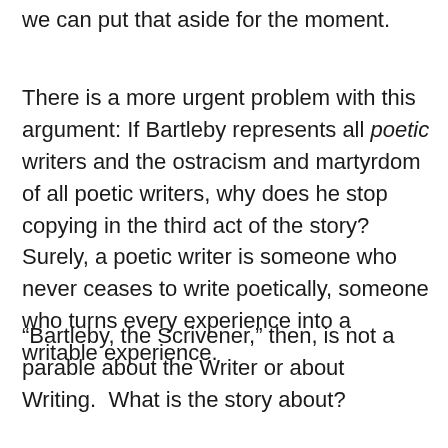we can put that aside for the moment.
There is a more urgent problem with this argument: If Bartleby represents all poetic writers and the ostracism and martyrdom of all poetic writers, why does he stop copying in the third act of the story?  Surely, a poetic writer is someone who never ceases to write poetically, someone who turns every experience into a writable experience.
“Bartleby, the Scrivener,” then, is not a parable about the Writer or about Writing.  What is the story about?